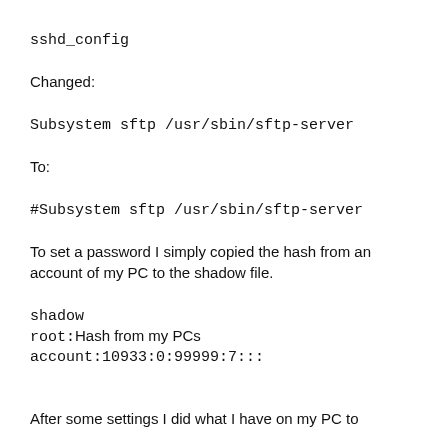sshd_config
Changed:
Subsystem sftp /usr/sbin/sftp-server
To:
#Subsystem sftp /usr/sbin/sftp-server
To set a password I simply copied the hash from an account of my PC to the shadow file.
shadow
root:Hash from my PCs account:10933:0:99999:7:::
After some settings I did what I have on my PC to